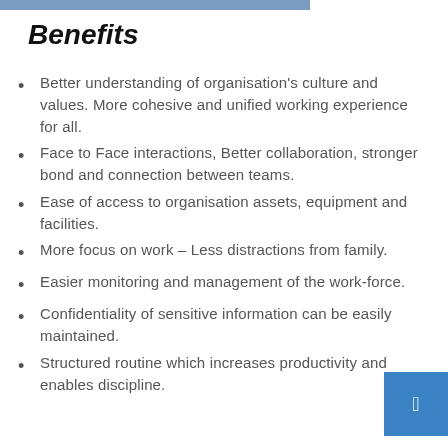Benefits
Better understanding of organisation's culture and values. More cohesive and unified working experience for all.
Face to Face interactions, Better collaboration, stronger bond and connection between teams.
Ease of access to organisation assets, equipment and facilities.
More focus on work – Less distractions from family.
Easier monitoring and management of the work-force.
Confidentiality of sensitive information can be easily maintained.
Structured routine which increases productivity and enables discipline.